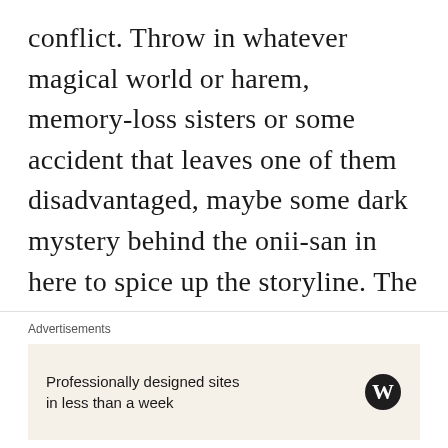conflict. Throw in whatever magical world or harem, memory-loss sisters or some accident that leaves one of them disadvantaged, maybe some dark mystery behind the onii-san in here to spice up the storyline. The issue of sibling love needs to be addressed in the story, otherwise it'll just be copy-and-paste cute little sisters. I don't think there's a need to change the world though, but nice one with the reality thing.
Advertisements
Professionally designed sites in less than a week